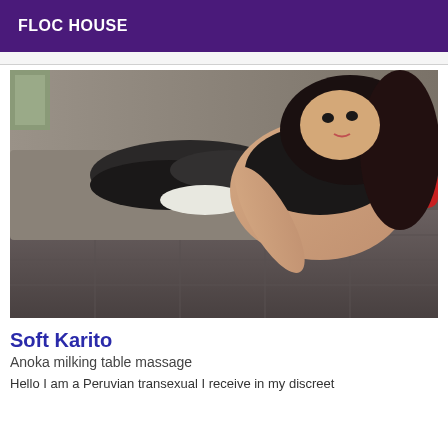FLOC HOUSE
[Figure (photo): A person with long dark hair posing on a sofa/couch area, photographed from above, wearing a black top and red underwear, with clothing items on the couch]
Soft Karito
Anoka milking table massage
Hello I am a Peruvian transexual I receive in my discreet